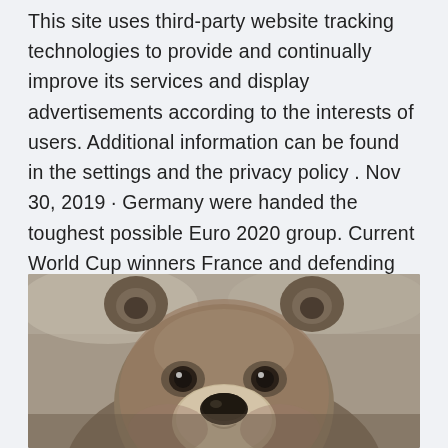This site uses third-party website tracking technologies to provide and continually improve its services and display advertisements according to the interests of users. Additional information can be found in the settings and the privacy policy . Nov 30, 2019 · Germany were handed the toughest possible Euro 2020 group. Current World Cup winners France and defending Euro champions Portugal join Joachim Löw's team in Group F. With UEFA Euro 2020 upon us, bundesliga.com looks at how Joachim Löw's side could line up.
[Figure (photo): Close-up photo of a brown bear's face looking toward the camera, with ears visible at top, dark eyes, and a light-colored snout. Background appears to be blurred rocky/natural environment.]